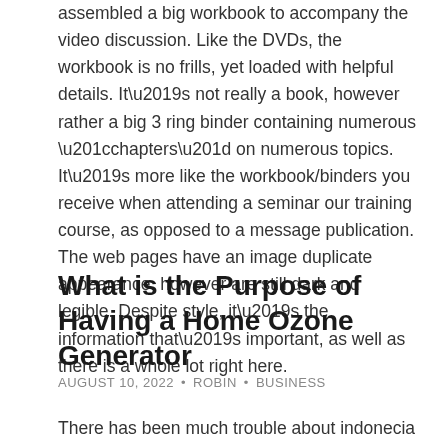assembled a big workbook to accompany the video discussion. Like the DVDs, the workbook is no frills, yet loaded with helpful details. It’s not really a book, however rather a big 3 ring binder containing numerous “chapters” on numerous topics. It’s more like the workbook/binders you receive when attending a seminar our training course, as opposed to a message publication. The web pages have an image duplicate appearance, however are still dark and legible. Despite style, it’s the information that’s important, as well as there is a whole lot right here.
What is the Purpose of Having a Home Ozone Generator
AUGUST 10, 2022 • ROBIN • BUSINESS
There has been much trouble about indonecia high